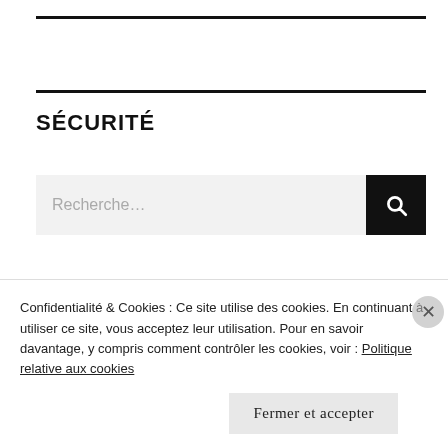SÉCURITÉ
[Figure (screenshot): Search input field with placeholder 'Recherche...' and a black search button with magnifying glass icon]
SAHEL-ELITE
Confidentialité & Cookies : Ce site utilise des cookies. En continuant à utiliser ce site, vous acceptez leur utilisation. Pour en savoir davantage, y compris comment contrôler les cookies, voir : Politique relative aux cookies
Fermer et accepter